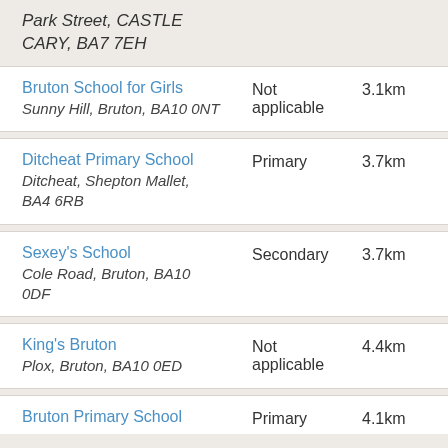Park Street, CASTLE CARY, BA7 7EH
| School | Type | Distance |
| --- | --- | --- |
| Bruton School for Girls
Sunny Hill, Bruton, BA10 0NT | Not applicable | 3.1km |
| Ditcheat Primary School
Ditcheat, Shepton Mallet, BA4 6RB | Primary | 3.7km |
| Sexey's School
Cole Road, Bruton, BA10 0DF | Secondary | 3.7km |
| King's Bruton
Plox, Bruton, BA10 0ED | Not applicable | 4.4km |
| Bruton Primary School | Primary | 4.1km |